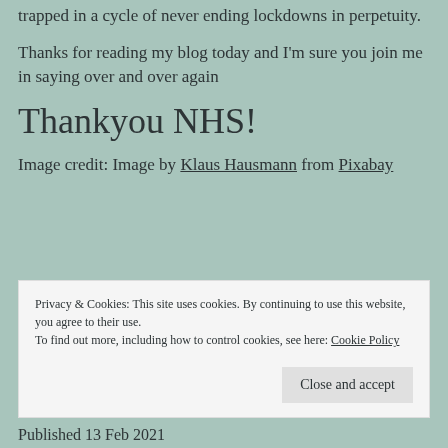trapped in a cycle of never ending lockdowns in perpetuity.
Thanks for reading my blog today and I'm sure you join me in saying over and over again
Thankyou NHS!
Image credit: Image by Klaus Hausmann from Pixabay
Privacy & Cookies: This site uses cookies. By continuing to use this website, you agree to their use. To find out more, including how to control cookies, see here: Cookie Policy
Published 13 Feb 2021